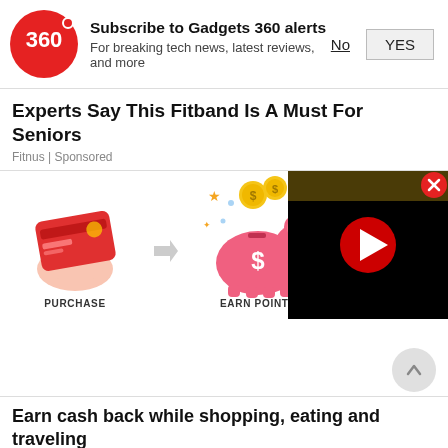[Figure (infographic): Gadgets 360 notification subscription banner with red circular logo showing '360', bold title 'Subscribe to Gadgets 360 alerts', subtitle 'For breaking tech news, latest reviews, and more', with 'No' (underlined) and 'YES' (button) options]
Experts Say This Fitband Is A Must For Seniors
Fitnus | Sponsored
[Figure (infographic): Ad infographic showing: left panel with hand holding red credit card labeled PURCHASE, arrow pointing right, piggy bank with coins labeled EARN POINTS. Right panel shows a black video player with red play button. Close (X) button in red circle top right.]
Earn cash back while shopping, eating and traveling